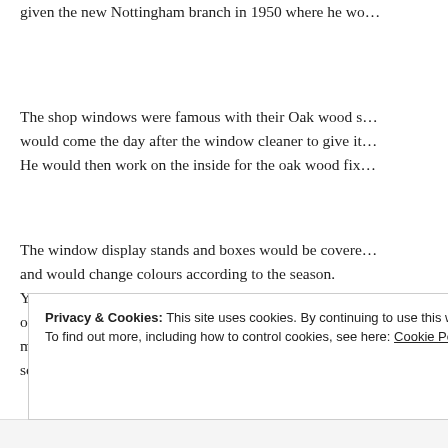given the new Nottingham branch in 1950 where he wo...
The shop windows were famous with their Oak wood s... would come the day after the window cleaner to give it... He would then work on the inside for the oak wood fix...
The window display stands and boxes would be covere... and would change colours according to the season. Yes the stained glass windows were there…..but the sh... original ones were just smashed to bits before throwing... managed to save Durham which is now a window for u... somewhere wrapped up but slightly damaged.
Privacy & Cookies: This site uses cookies. By continuing to use this website, you agree to their use. To find out more, including how to control cookies, see here: Cookie Policy
Close and accept